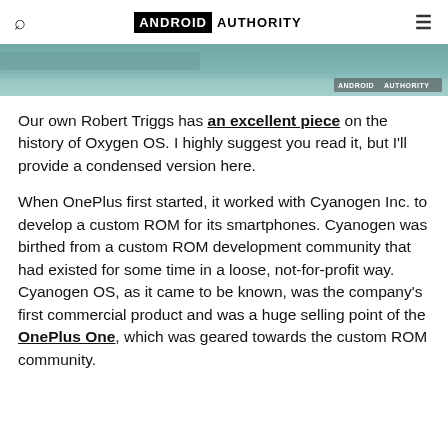ANDROID AUTHORITY
[Figure (photo): Partial hero image of a device/landscape, teal-tinted, with Android Authority watermark in lower right]
Our own Robert Triggs has an excellent piece on the history of Oxygen OS. I highly suggest you read it, but I'll provide a condensed version here.
When OnePlus first started, it worked with Cyanogen Inc. to develop a custom ROM for its smartphones. Cyanogen was birthed from a custom ROM development community that had existed for some time in a loose, not-for-profit way. Cyanogen OS, as it came to be known, was the company's first commercial product and was a huge selling point of the OnePlus One, which was geared towards the custom ROM community.